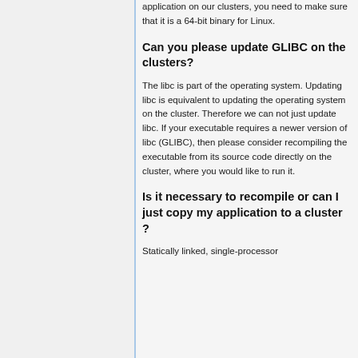application on our clusters, you need to make sure that it is a 64-bit binary for Linux.
Can you please update GLIBC on the clusters?
The libc is part of the operating system. Updating libc is equivalent to updating the operating system on the cluster. Therefore we can not just update libc. If your executable requires a newer version of libc (GLIBC), then please consider recompiling the executable from its source code directly on the cluster, where you would like to run it.
Is it necessary to recompile or can I just copy my application to a cluster ?
Statically linked, single-processor